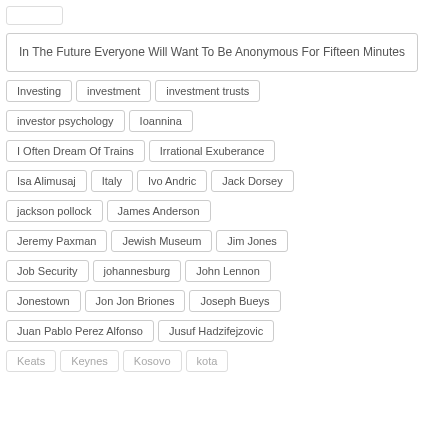In The Future Everyone Will Want To Be Anonymous For Fifteen Minutes
Investing
investment
investment trusts
investor psychology
Ioannina
I Often Dream Of Trains
Irrational Exuberance
Isa Alimusaj
Italy
Ivo Andric
Jack Dorsey
jackson pollock
James Anderson
Jeremy Paxman
Jewish Museum
Jim Jones
Job Security
johannesburg
John Lennon
Jonestown
Jon Jon Briones
Joseph Bueys
Juan Pablo Perez Alfonso
Jusuf Hadzifejzovic
Keats
Keynes
Kosovo
kota